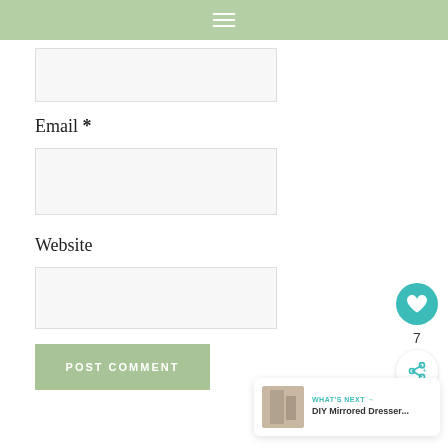≡
Email *
Website
POST COMMENT
[Figure (other): Heart/like button widget with count 7 and share button]
WHAT'S NEXT → DIY Mirrored Dresser...